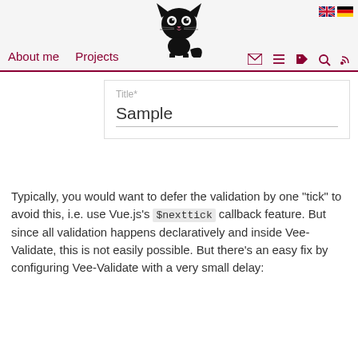About me  Projects
[Figure (illustration): Black cartoon cat logo with big round eyes, whiskers, and a curled tail]
Title*
Sample
Typically, you would want to defer the validation by one "tick" to avoid this, i.e. use Vue.js's $nexttick callback feature. But since all validation happens declaratively and inside Vee-Validate, this is not easily possible. But there's an easy fix by configuring Vee-Validate with a very small delay:
// in your Main.ts
// HACK: delay: 1 avoids "one-behind"-error in text
Vue.use(VeeValidate, { inject: false, delay: 1 });
Should you run into these issues, this has the same effect and will